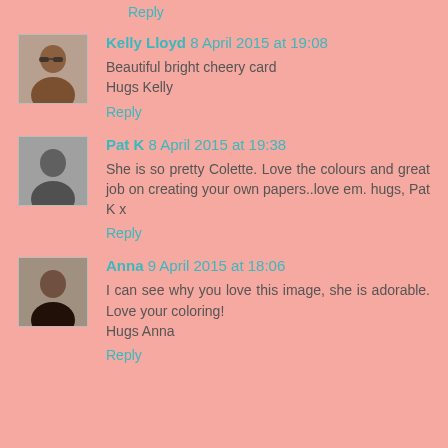Reply
Kelly Lloyd 8 April 2015 at 19:08
Beautiful bright cheery card
Hugs Kelly
Reply
Pat K 8 April 2015 at 19:38
She is so pretty Colette. Love the colours and great job on creating your own papers..love em. hugs, Pat K x
Reply
Anna 9 April 2015 at 18:06
I can see why you love this image, she is adorable. Love your coloring!
Hugs Anna
Reply